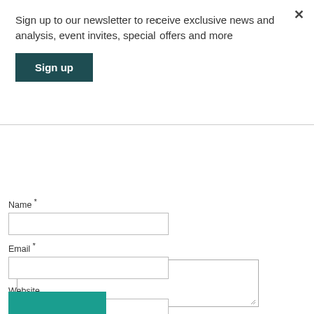Sign up to our newsletter to receive exclusive news and analysis, event invites, special offers and more
[Figure (other): Sign up button — dark teal rectangle with bold white text 'Sign up']
[Figure (other): Text area input box, partially visible, with resize handle at bottom-right]
Name *
[Figure (other): Name text input field]
Email *
[Figure (other): Email text input field]
Website
[Figure (other): Website text input field]
Save my name, email, and website in this browser for the next time I comment.
[Figure (other): Teal submit button at bottom]